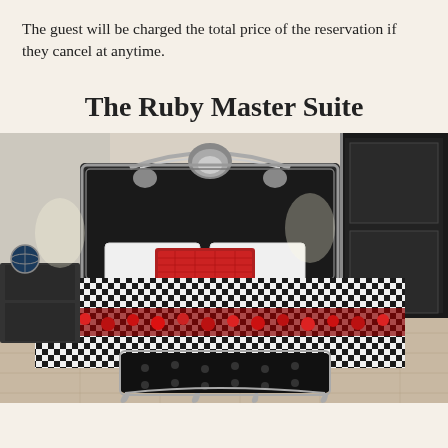The guest will be charged the total price of the reservation if they cancel at anytime.
The Ruby Master Suite
[Figure (photo): Luxury hotel bedroom with an ornate black and silver baroque-style headboard, black and white checkered bedspread with red roses, decorative red patterned pillow, a black tufted bench with silver carved legs at the foot of the bed, nightstand with globe accent, and black wardrobe doors. The room has marble-tiled flooring and light-colored walls.]